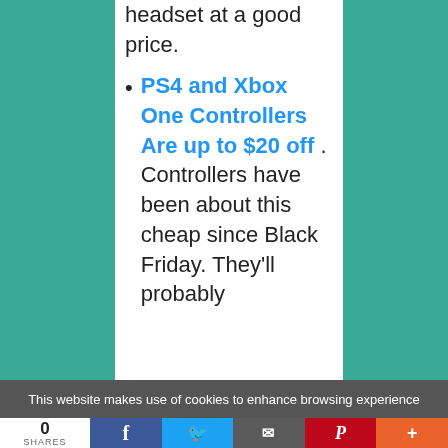headset at a good price.
PS4 and Xbox One Controllers Are up to $20 off . Controllers have been about this cheap since Black Friday. They'll probably
This website makes use of cookies to enhance browsing experience
0 SHARES